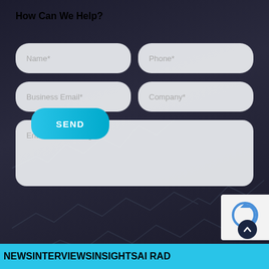How Can We Help?
[Figure (screenshot): Contact form with fields: Name*, Phone*, Business Email*, Company*, Enter Your Message*, and a SEND button on a dark background]
NEWS   INTERVIEWS   INSIGHTS   AI RAD...